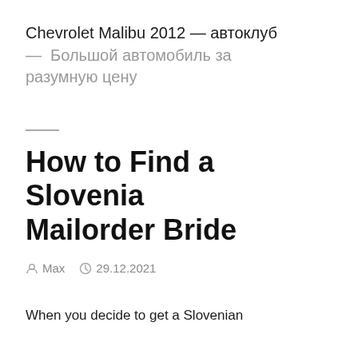Chevrolet Malibu 2012 — автоклуб — Большой автомобиль за разумную цену
How to Find a Slovenia Mailorder Bride
Max   29.12.2021
When you decide to get a Slovenian